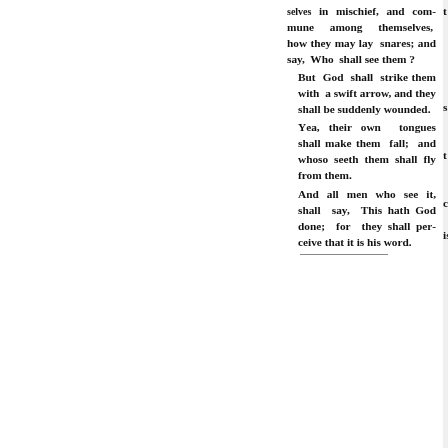selves in mischief, and commune among themselves, how they may lay snares; and say, Who shall see them? But God shall strike them with a swift arrow, and they shall be suddenly wounded. Yea, their own tongues shall make them fall; and whoso seeth them shall fly from them. And all men who see it, shall say, This hath God done; for they shall perceive that it is his word.
fa
I am become a stranger unto m
For the zeal of thine house hath e
en upon me.
I wept and chastened myself w
PSALM 69.
heaviness; I looked for some to h
I put on sackcloth also; and th